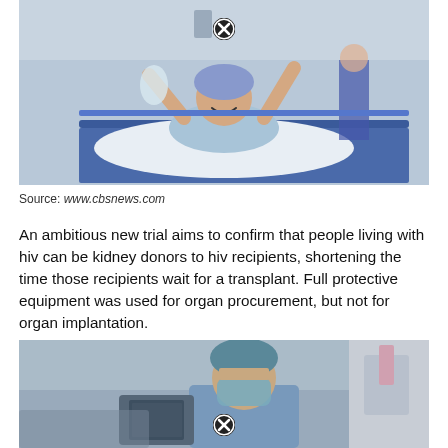[Figure (photo): Hospital patient in blue gown and surgical cap lying on a gurney with arms raised, appearing happy, in a hospital corridor with medical staff in background]
Source: www.cbsnews.com
An ambitious new trial aims to confirm that people living with hiv can be kidney donors to hiv recipients, shortening the time those recipients wait for a transplant. Full protective equipment was used for organ procurement, but not for organ implantation.
[Figure (photo): Surgeon in blue scrubs, surgical mask and cap working in an operating room with medical equipment visible in background]